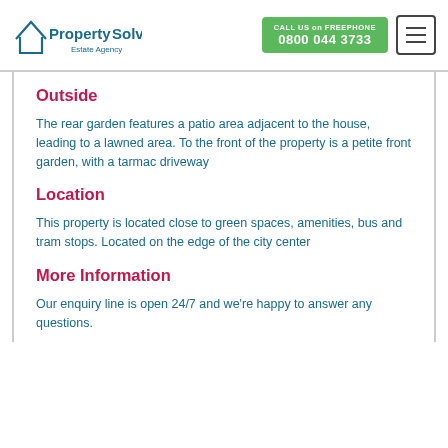PropertySolvers Estate Agency | CALL US on FREEPHONE 0800 044 3733
Outside
The rear garden features a patio area adjacent to the house, leading to a lawned area. To the front of the property is a petite front garden, with a tarmac driveway
Location
This property is located close to green spaces, amenities, bus and tram stops. Located on the edge of the city center
More Information
Our enquiry line is open 24/7 and we're happy to answer any questions.